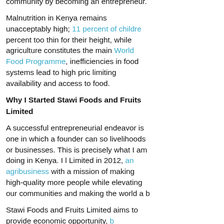community by becoming an entrepreneur.
Malnutrition in Kenya remains unacceptably high; 11 percent of children percent too thin for their height, while agriculture constitutes the main World Food Programme, inefficiencies in food systems lead to high prices limiting availability and access to food.
Why I Started Stawi Foods and Fruits Limited
A successful entrepreneurial endeavor is one in which a founder can so livelihoods or businesses. This is precisely what I am doing in Kenya. I I Limited in 2012, an agribusiness with a mission of making high-quality more people while elevating our communities and making the world a b
Stawi Foods and Fruits Limited aims to provide economic opportunity, b smallholder farmers, and improve their incomes. By providing a market Kenya who need fair buyers for their produce, my company enables far their products while positively impacting surrounding communities.
Stawi Foods and Fruits Limited is also working to address hidden hunge hydrothermal processing technology, traditional foods can be naturally essential minerals at a low cost and then used to process nutritious, ap products for babies between six and 23 months old.
Additionally, my goal is to empower women and youth by creating